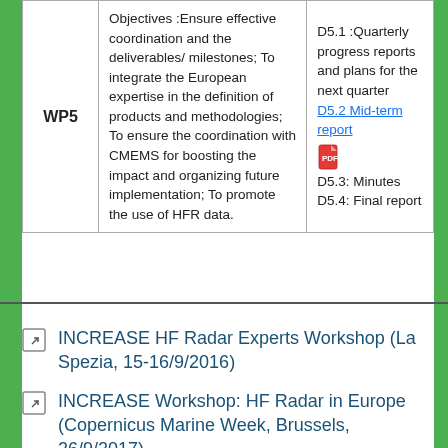|  | Objectives | Deliverables |
| --- | --- | --- |
| WP5 | Objectives :Ensure effective coordination and the deliverables/milestones; To integrate the European expertise in the definition of products and methodologies; To ensure the coordination with CMEMS for boosting the impact and organizing future implementation; To promote the use of HFR data. | D5.1 :Quarterly progress reports and plans for the next quarter
D5.2 Mid-term report
[PDF icon]
D5.3: Minutes
D5.4: Final report |
INCREASE HF Radar Experts Workshop (La Spezia, 15-16/9/2016)
INCREASE Workshop: HF Radar in Europe (Copernicus Marine Week, Brussels, 26/9/2017)